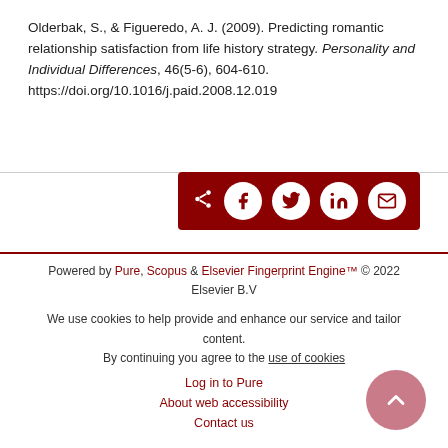Olderbak, S., & Figueredo, A. J. (2009). Predicting romantic relationship satisfaction from life history strategy. Personality and Individual Differences, 46(5-6), 604-610. https://doi.org/10.1016/j.paid.2008.12.019
[Figure (other): Dark red share bar with share, Facebook, Twitter, LinkedIn, and email icons]
Powered by Pure, Scopus & Elsevier Fingerprint Engine™ © 2022 Elsevier B.V
We use cookies to help provide and enhance our service and tailor content. By continuing you agree to the use of cookies
Log in to Pure
About web accessibility
Contact us